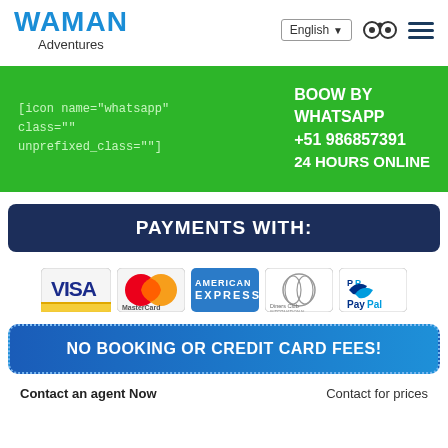WAMAN Adventures | English | [tripadvisor icon] | [hamburger menu]
[icon name="whatsapp" class="" unprefixed_class=""] BOOW BY WHATSAPP +51 986857391 24 HOURS ONLINE
PAYMENTS WITH:
[Figure (logo): Payment method logos: Visa, MasterCard, American Express, Diners Club International, PayPal]
NO BOOKING OR CREDIT CARD FEES!
Contact an agent Now
Contact for prices